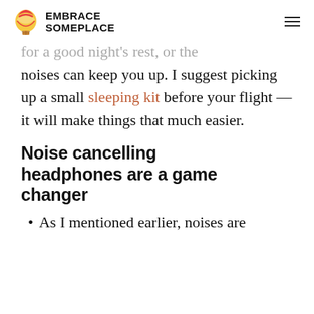EMBRACE SOMEPLACE
for a good night's rest, or the noises can keep you up. I suggest picking up a small sleeping kit before your flight — it will make things that much easier.
Noise cancelling headphones are a game changer
As I mentioned earlier, noises are